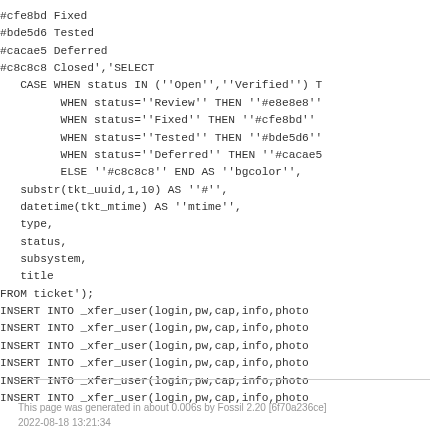#cfe8bd Fixed
#bde5d6 Tested
#cacae5 Deferred
#c8c8c8 Closed','SELECT
   CASE WHEN status IN (''Open'',''Verified'') T
         WHEN status=''Review'' THEN ''#e8e8e8''
         WHEN status=''Fixed'' THEN ''#cfe8bd''
         WHEN status=''Tested'' THEN ''#bde5d6''
         WHEN status=''Deferred'' THEN ''#cacae5
         ELSE ''#c8c8c8'' END AS ''bgcolor'',
   substr(tkt_uuid,1,10) AS ''#'',
   datetime(tkt_mtime) AS ''mtime'',
   type,
   status,
   subsystem,
   title
FROM ticket');
INSERT INTO _xfer_user(login,pw,cap,info,photo
INSERT INTO _xfer_user(login,pw,cap,info,photo
INSERT INTO _xfer_user(login,pw,cap,info,photo
INSERT INTO _xfer_user(login,pw,cap,info,photo
INSERT INTO _xfer_user(login,pw,cap,info,photo
INSERT INTO _xfer_user(login,pw,cap,info,photo
This page was generated in about 0.006s by Fossil 2.20 [6f70a236ce]
2022-08-18 13:21:34